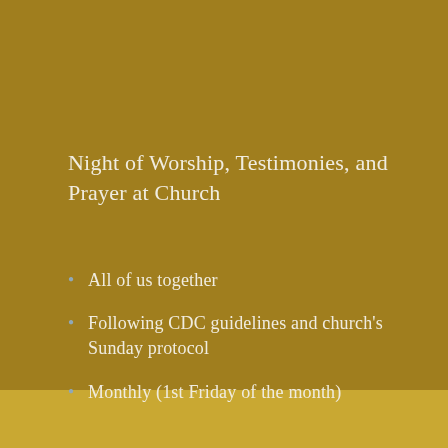Night of Worship, Testimonies, and Prayer at Church
All of us together
Following CDC guidelines and church's Sunday protocol
Monthly (1st Friday of the month)